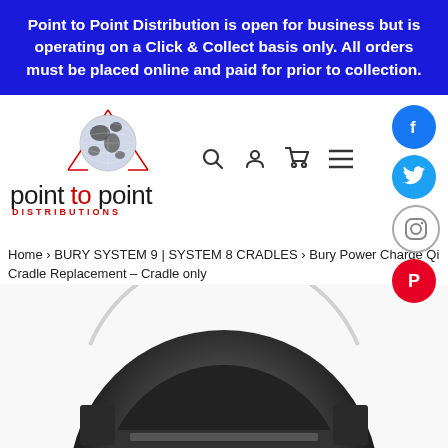Point to Point Distribution is open for business but is operating on a Click & Collect basis only. All orders must be placed online and paid for prior to collection.
[Figure (logo): Point to Point Distributions logo with globe graphic and text]
[Figure (infographic): Social media buttons for Facebook, Twitter, Instagram, Pinterest on the right side]
Home › BURY SYSTEM 9 | SYSTEM 8 CRADLES › Bury Power Charge Qi Cradle Replacement – Cradle only
[Figure (photo): Product photo of Bury Power Charge Qi Cradle - dark circular cradle device]